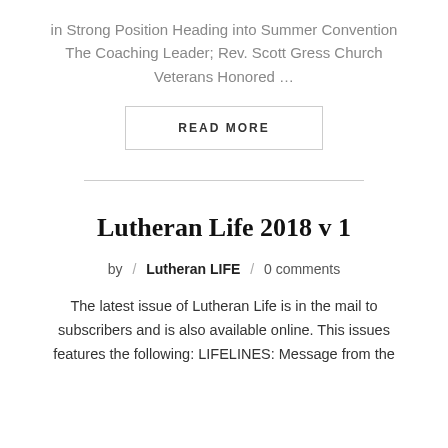in Strong Position Heading into Summer Convention The Coaching Leader; Rev. Scott Gress Church Veterans Honored …
READ MORE
Lutheran Life 2018 v 1
by  /  Lutheran LIFE  /  0 comments
The latest issue of Lutheran Life is in the mail to subscribers and is also available online. This issues features the following: LIFELINES: Message from the